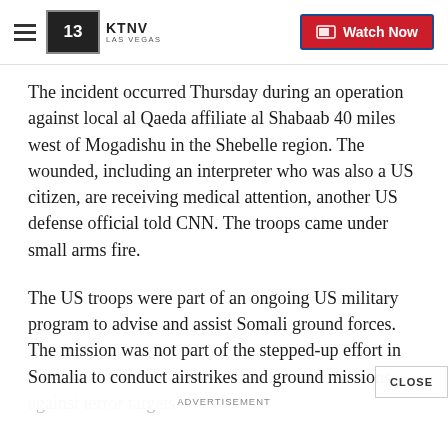KTNV LAS VEGAS | Watch Now
The incident occurred Thursday during an operation against local al Qaeda affiliate al Shabaab 40 miles west of Mogadishu in the Shebelle region. The wounded, including an interpreter who was also a US citizen, are receiving medical attention, another US defense official told CNN. The troops came under small arms fire.
The US troops were part of an ongoing US military program to advise and assist Somali ground forces. The mission was not part of the stepped-up effort in Somalia to conduct airstrikes and ground missions against terror targets.